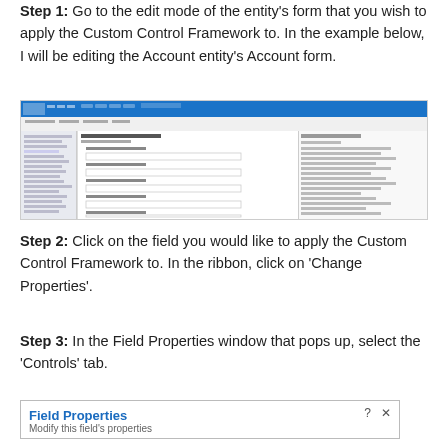Step 1: Go to the edit mode of the entity's form that you wish to apply the Custom Control Framework to. In the example below, I will be editing the Account entity's Account form.
[Figure (screenshot): Screenshot of a Microsoft Dynamics CRM form editor showing the Account entity form in edit mode, with a ribbon toolbar at the top, a left navigation panel, and form fields in the center.]
Step 2: Click on the field you would like to apply the Custom Control Framework to. In the ribbon, click on 'Change Properties'.
Step 3: In the Field Properties window that pops up, select the 'Controls' tab.
[Figure (screenshot): Field Properties dialog window header showing the title 'Field Properties', subtitle 'Modify this field's properties', and close/help buttons.]